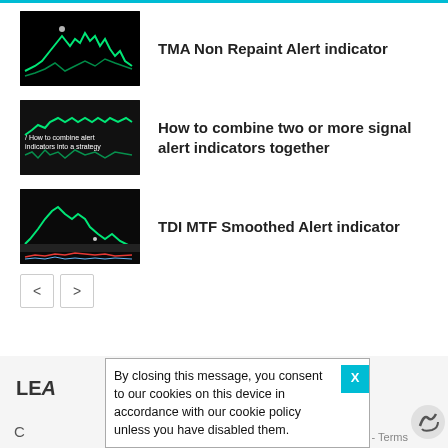TMA Non Repaint Alert indicator
How to combine two or more signal alert indicators together
TDI MTF Smoothed Alert indicator
< >
LEA
C
By closing this message, you consent to our cookies on this device in accordance with our cookie policy unless you have disabled them.
ay - Terms